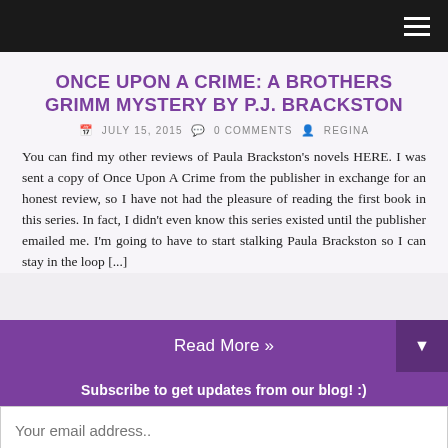ONCE UPON A CRIME: A BROTHERS GRIMM MYSTERY BY P.J. BRACKSTON
JULY 15, 2015  0 COMMENTS  REGINA
You can find my other reviews of Paula Brackston's novels HERE. I was sent a copy of Once Upon A Crime from the publisher in exchange for an honest review, so I have not had the pleasure of reading the first book in this series. In fact, I didn't even know this series existed until the publisher emailed me. I'm going to have to start stalking Paula Brackston so I can stay in the loop [...]
Read More »
Subscribe to get updates from our blog! :)
Your email address..
Subscribe